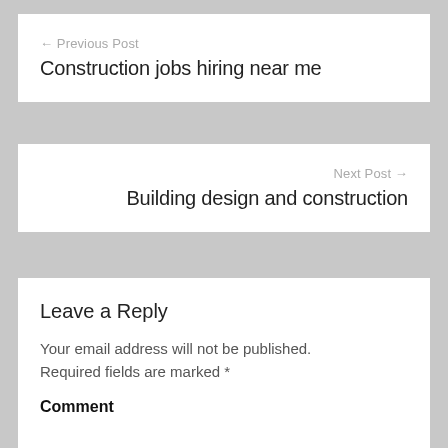← Previous Post
Construction jobs hiring near me
Next Post →
Building design and construction
Leave a Reply
Your email address will not be published. Required fields are marked *
Comment